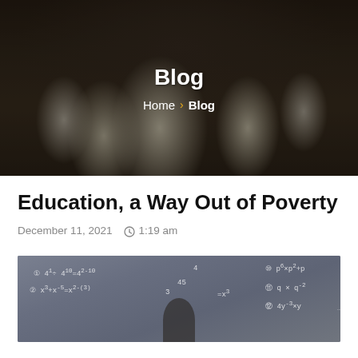[Figure (photo): Dark-toned photo of a classroom with children in white uniforms seated at desks, with a teacher standing at the front. Overlaid with 'Blog' heading and breadcrumb navigation.]
Blog
Home > Blog
Education, a Way Out of Poverty
December 11, 2021   1:19 am
[Figure (photo): Photo of a chalkboard covered in mathematical equations and formulas, with a person partially visible in front of it.]